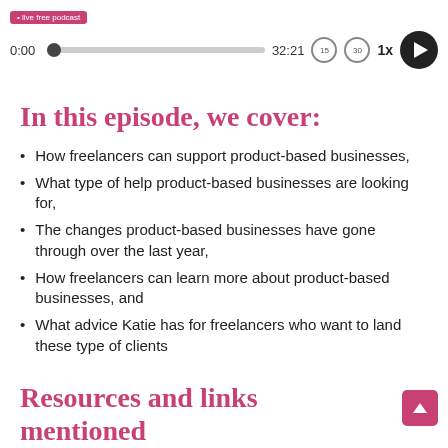[Figure (screenshot): Podcast audio player bar with label 'live free podcast', time 0:00, progress bar, total time 32:21, skip back 15s button, skip forward 30s button, 1x speed, and play button]
In this episode, we cover:
How freelancers can support product-based businesses,
What type of help product-based businesses are looking for,
The changes product-based businesses have gone through over the last year,
How freelancers can learn more about product-based businesses, and
What advice Katie has for freelancers who want to land these type of clients
Resources and links mentioned